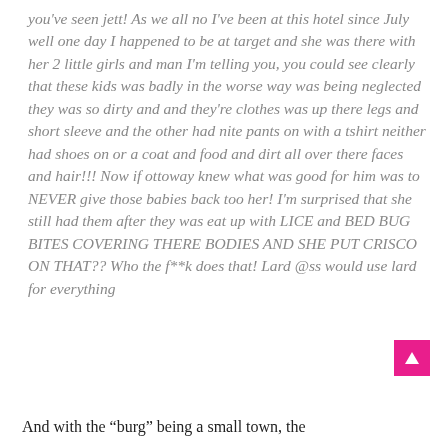you've seen jett! As we all no I've been at this hotel since July well one day I happened to be at target and she was there with her 2 little girls and man I'm telling you, you could see clearly that these kids was badly in the worse way was being neglected they was so dirty and and they're clothes was up there legs and short sleeve and the other had nite pants on with a tshirt neither had shoes on or a coat and food and dirt all over there faces and hair!!! Now if ottoway knew what was good for him was to NEVER give those babies back too her! I'm surprised that she still had them after they was eat up with LICE and BED BUG BITES COVERING THERE BODIES AND SHE PUT CRISCO ON THAT?? Who the f**k does that! Lard @ss would use lard for everything
And with the “burg” being a small town, the